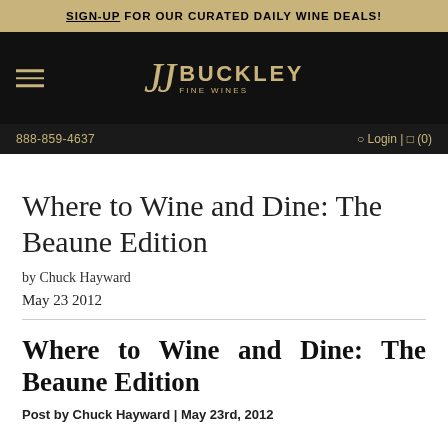SIGN-UP FOR OUR CURATED DAILY WINE DEALS!
JJ BUCKLEY FINE WINES
888-859-4637  Login | (0)
Where to Wine and Dine: The Beaune Edition
by Chuck Hayward
May 23 2012
Where to Wine and Dine: The Beaune Edition
Post by Chuck Hayward | May 23rd, 2012